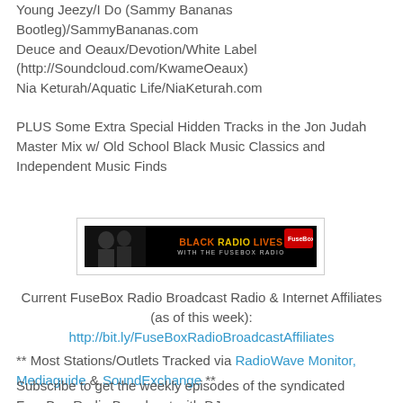Young Jeezy/I Do (Sammy Bananas Bootleg)/SammyBananas.com
Deuce and Oeaux/Devotion/White Label (http://Soundcloud.com/KwameOeaux)
Nia Keturah/Aquatic Life/NiaKeturah.com
PLUS Some Extra Special Hidden Tracks in the Jon Judah Master Mix w/ Old School Black Music Classics and Independent Music Finds
[Figure (other): Black Radio Lives with the FuseBox Radio banner image — black background with stylized text and figures]
Current FuseBox Radio Broadcast Radio & Internet Affiliates (as of this week): http://bit.ly/FuseBoxRadioBroadcastAffiliates
** Most Stations/Outlets Tracked via RadioWave Monitor, Mediaguide & SoundExchange **
Subscribe to get the weekly episodes of the syndicated FuseBox Radio Broadcast with DJ